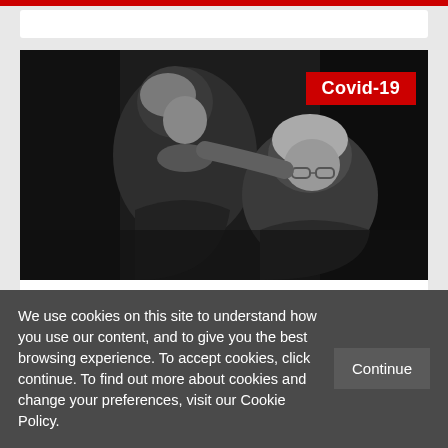[Figure (photo): Black and white photograph of two elderly women, one leaning over the other in a nursing home setting]
Underfunding is linked to high COVID-19 mortality in Spanish nursing homes
We use cookies on this site to understand how you use our content, and to give you the best browsing experience. To accept cookies, click continue. To find out more about cookies and change your preferences, visit our Cookie Policy.